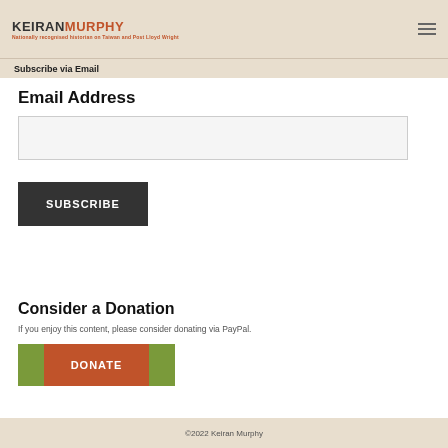KEIRAN MURPHY - Nationally recognised historian on Taiwan and Post Lloyd Wright
Subscribe via Email
Email Address
SUBSCRIBE
Consider a Donation
If you enjoy this content, please consider donating via PayPal.
DONATE
©2022 Keiran Murphy